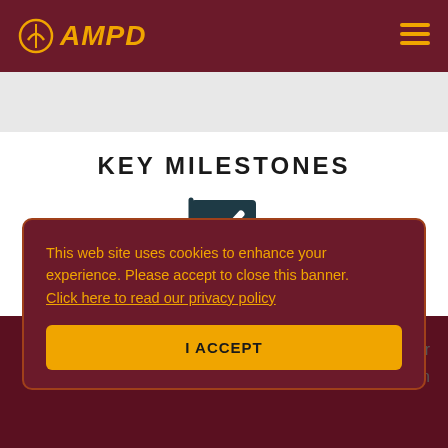AMPD
KEY MILESTONES
[Figure (illustration): A dark teal flag icon with a white checkmark inside the flag portion, on a pole — representing a milestone marker]
This web site uses cookies to enhance your experience. Please accept to close this banner. Click here to read our privacy policy
I ACCEPT